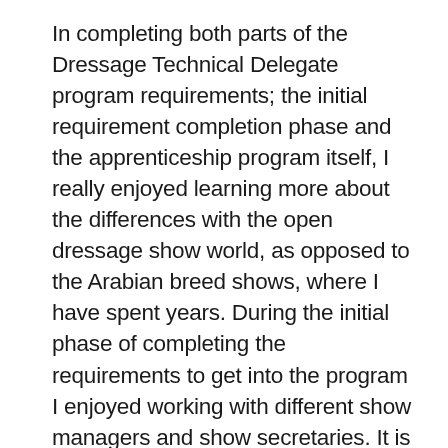In completing both parts of the Dressage Technical Delegate program requirements; the initial requirement completion phase and the apprenticeship program itself, I really enjoyed learning more about the differences with the open dressage show world, as opposed to the Arabian breed shows, where I have spent years. During the initial phase of completing the requirements to get into the program I enjoyed working with different show managers and show secretaries. It is always good to get another perspective or a different way of doing something you already know. I found several times that I learned some new feature about FoxVillage even though I have used it for years. But there were other times where I was able to show them something that I knew about FV that they didn't. It was really fun to share back and forth. I made some great new connections with people along the way. Several have asked me to